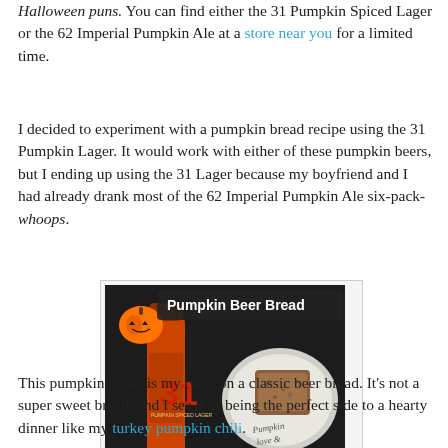Halloween puns. You can find either the 31 Pumpkin Spiced Lager or the 62 Imperial Pumpkin Ale at a store near you for a limited time.
I decided to experiment with a pumpkin bread recipe using the 31 Pumpkin Lager. It would work with either of these pumpkin beers, but I ending up using the 31 Lager because my boyfriend and I had already drank most of the 62 Imperial Pumpkin Ale six-pack-whoops.
[Figure (photo): Photo of a bottle of 31 Pumpkin Spiced Lager beer next to a slice of pumpkin beer bread on a white plate, with a jack-o-lantern graphic and 'Pumpkin Beer Bread' text overlay. Watermark: breathedeeplyandsmile.com]
This pumpkin bread is my twist on a classic beer bread. It's not a super sweet bread, and I see it as being the perfect side to a hearty dinner like my turkey pumpkin chili.